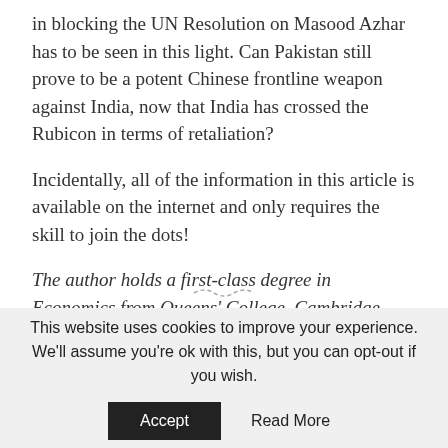in blocking the UN Resolution on Masood Azhar has to be seen in this light. Can Pakistan still prove to be a potent Chinese frontline weapon against India, now that India has crossed the Rubicon in terms of retaliation?
Incidentally, all of the information in this article is available on the internet and only requires the skill to join the dots!
The author holds a first-class degree in Economics from Queens' College, Cambridge University. He is a black belt Sho Dan in Shotokan Karate-Do. He was adviser on India to Rupert Murdoch in 1993-95 and has produced over 500 hours of Television programming telecast worldwide. He lives in New Delhi with his wife Anu and their dogs and parrots.
This website uses cookies to improve your experience. We'll assume you're ok with this, but you can opt-out if you wish. Accept Read More